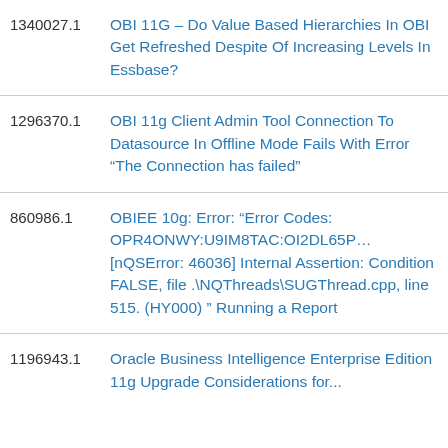1340027.1 – OBI 11G – Do Value Based Hierarchies In OBI Get Refreshed Despite Of Increasing Levels In Essbase?
1296370.1 – OBI 11g Client Admin Tool Connection To Datasource In Offline Mode Fails With Error “The Connection has failed”
860986.1 – OBIEE 10g: Error: “Error Codes: OPR4ONWY:U9IM8TAC:OI2DL65P… [nQSError: 46036] Internal Assertion: Condition FALSE, file .\NQThreads\SUGThread.cpp, line 515. (HY000) ” Running a Report
1196943.1 – Oracle Business Intelligence Enterprise Edition 11g Upgrade Considerations for...